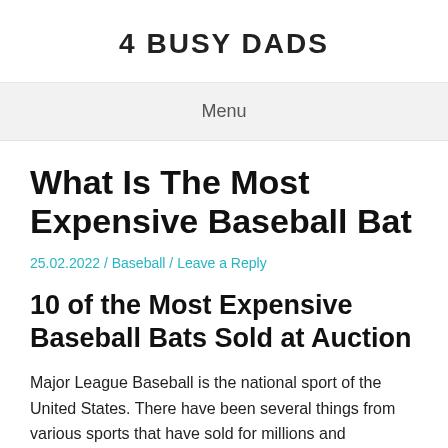4 BUSY DADS
Menu
What Is The Most Expensive Baseball Bat
25.02.2022 / Baseball / Leave a Reply
10 of the Most Expensive Baseball Bats Sold at Auction
Major League Baseball is the national sport of the United States. There have been several things from various sports that have sold for millions and